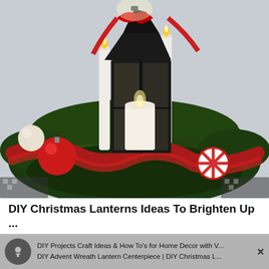[Figure (photo): A DIY Christmas lantern centerpiece featuring a black metal lantern with a lit candle inside, surrounded by a wreath of pine branches, red burlap ribbon, red ornament balls, and a peppermint candy ornament. White taper candles flank the lantern. A red mesh bow tops the lantern.]
DIY Christmas Lanterns Ideas To Brighten Up ...
DIY Projects Craft Ideas & How To's for Home Decor with V... | DIY Advent Wreath Lantern Centerpiece | DIY Christmas L...